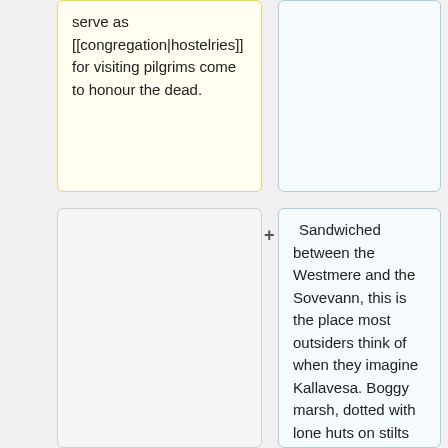serve as [[congregation|hostelries]] for visiting pilgrims come to honour the dead.
Sandwiched between the Westmere and the Sovevann, this is the place most outsiders think of when they imagine Kallavesa. Boggy marsh, dotted with lone huts on stilts where pale herons stalk and burbling frogs maintain an eerie chorus at dawn and dusk. These are the haunted marshes where the heroes of Wintermark rest, and the few scattered halls here are generally given over to the study of [[The Way]] of serve as